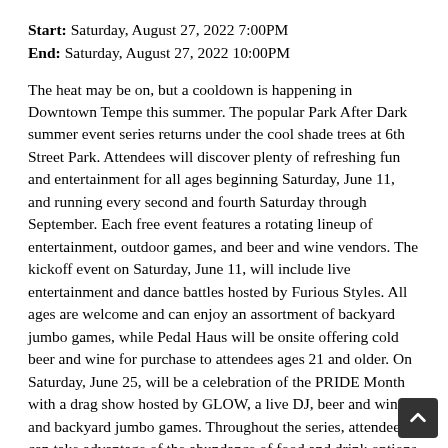Start: Saturday, August 27, 2022 7:00PM
End: Saturday, August 27, 2022 10:00PM
The heat may be on, but a cooldown is happening in Downtown Tempe this summer. The popular Park After Dark summer event series returns under the cool shade trees at 6th Street Park. Attendees will discover plenty of refreshing fun and entertainment for all ages beginning Saturday, June 11, and running every second and fourth Saturday through September. Each free event features a rotating lineup of entertainment, outdoor games, and beer and wine vendors. The kickoff event on Saturday, June 11, will include live entertainment and dance battles hosted by Furious Styles. All ages are welcome and can enjoy an assortment of backyard jumbo games, while Pedal Haus will be onsite offering cold beer and wine for purchase to attendees ages 21 and older. On Saturday, June 25, will be a celebration of the PRIDE Month with a drag show hosted by GLOW, a live DJ, beer and wine, and backyard jumbo games. Throughout the series, attendees can take advantage of the abundance of food and drink options in Downtown Tempe, with 14 options less than a 5-minute walk from 6th Street Park. Guests can order food online and pick it up or have it delivered directly to the park for a nominal fee. A